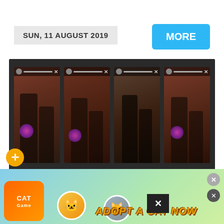SUN, 11 AUGUST 2019
MORE
[Figure (photo): Four Instagram story screenshots showing Taylor Swift and friends posing in front of a brick wall, wearing sparkly outfits]
Taylor Swift is celebrating her music!
The 29-year-old "Me!" singer-son
[Figure (photo): Mobile advertisement banner for Cat Game showing cartoon cats and 'ADOPT A CAT NOW' text]